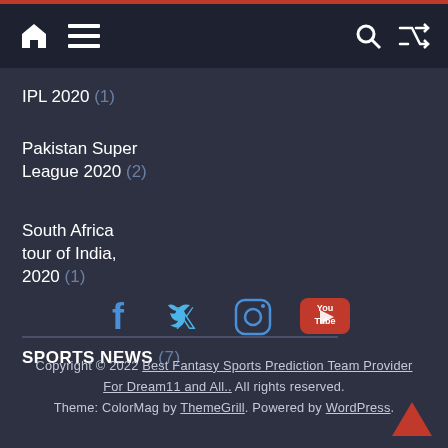Navigation bar with home icon, menu icon, search icon, shuffle icon
IPL 2020 (1)
Pakistan Super League 2020 (2)
South Africa tour of India, 2020 (1)
SPORTS NEWS (7)
[Figure (other): Social media icons: Facebook, Twitter, Instagram, YouTube]
Copyright © 2022 Best Fantasy Sports Prediction Team Provider For Dream11 and All.. All rights reserved. Theme: ColorMag by ThemeGrill. Powered by WordPress.